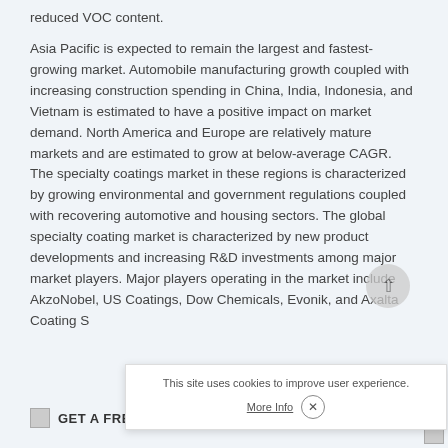reduced VOC content.
Asia Pacific is expected to remain the largest and fastest-growing market. Automobile manufacturing growth coupled with increasing construction spending in China, India, Indonesia, and Vietnam is estimated to have a positive impact on market demand. North America and Europe are relatively mature markets and are estimated to grow at below-average CAGR. The specialty coatings market in these regions is characterized by growing environmental and government regulations coupled with recovering automotive and housing sectors. The global specialty coating market is characterized by new product developments and increasing R&D investments among major market players. Major players operating in the market include AkzoNobel, US Coatings, Dow Chemicals, Evonik, and Axalta Coating S...
[Figure (other): Cookie consent overlay box with text 'This site uses cookies to improve user experience.' and a 'More Info' link with an X close button.]
[Figure (other): Scroll-to-top circular button with an upward arrow.]
[Figure (other): Bottom banner with image icon and text 'GET A FREE SAMPLE' partially visible.]